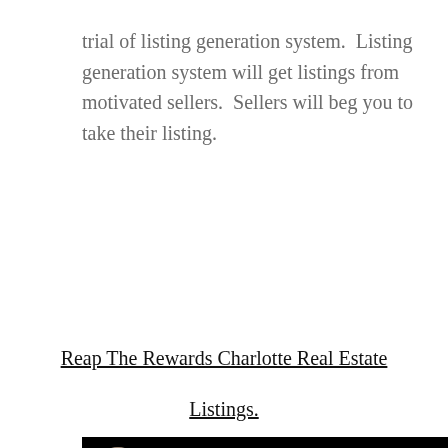trial of listing generation system.  Listing generation system will get listings from motivated sellers.  Sellers will beg you to take their listing.
Reap The Rewards Charlotte Real Estate Listings.
[Figure (screenshot): YouTube-style video embed with black background. Shows a circular profile photo of a man in a suit and tie, with the channel name 'Charlotte Real Estate Listings' in white text, and a three-dot menu icon on the right.]